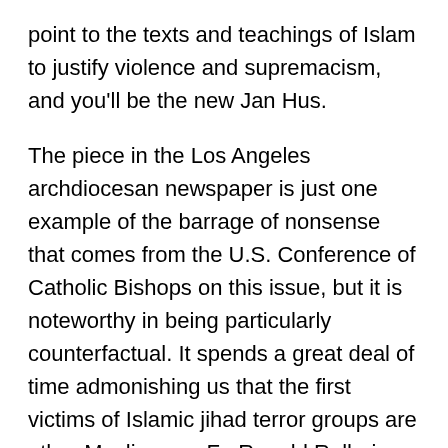point to the texts and teachings of Islam to justify violence and supremacism, and you'll be the new Jan Hus.
The piece in the Los Angeles archdiocesan newspaper is just one example of the barrage of nonsense that comes from the U.S. Conference of Catholic Bishops on this issue, but it is noteworthy in being particularly counterfactual. It spends a great deal of time admonishing us that the first victims of Islamic jihad terror groups are other Muslims, as Fr. Ronald Rolheiser apparently believes, with Barack Obama and numerous other Western leaders, that this proves that the Islamic State, al-Qaeda and the rest are un-Islamic. In fact, it only establishes that they believe their Muslim opponents to be un-Islamic, and